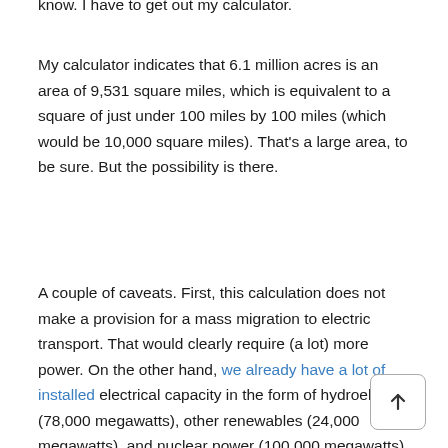know. I have to get out my calculator.
My calculator indicates that 6.1 million acres is an area of 9,531 square miles, which is equivalent to a square of just under 100 miles by 100 miles (which would be 10,000 square miles). That's a large area, to be sure. But the possibility is there.
A couple of caveats. First, this calculation does not make a provision for a mass migration to electric transport. That would clearly require (a lot) more power. On the other hand, we already have a lot of installed electrical capacity in the form of hydroelectric (78,000 megawatts), other renewables (24,000 megawatts), and nuclear power (100,000 megawatts). This lessens the power requirement from solar.